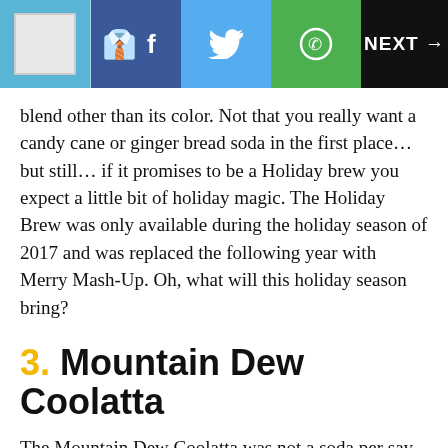NEXT →
blend other than its color. Not that you really want a candy cane or ginger bread soda in the first place… but still… if it promises to be a Holiday brew you expect a little bit of holiday magic. The Holiday Brew was only available during the holiday season of 2017 and was replaced the following year with Merry Mash-Up. Oh, what will this holiday season bring?
3. Mountain Dew Coolatta
The Mountain Dew Coolatta was not a soda per say, it was a slushie. This was offered at select Dunkin' Donuts and was released in 2011. Apparently it had the texture of a smoothie. Hmmmm… Slushies and